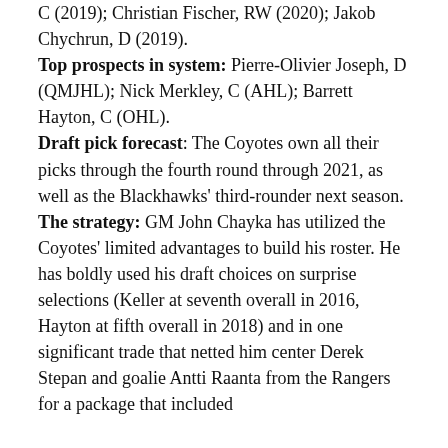C (2019); Christian Fischer, RW (2020); Jakob Chychrun, D (2019).
Top prospects in system: Pierre-Olivier Joseph, D (QMJHL); Nick Merkley, C (AHL); Barrett Hayton, C (OHL).
Draft pick forecast: The Coyotes own all their picks through the fourth round through 2021, as well as the Blackhawks' third-rounder next season.
The strategy: GM John Chayka has utilized the Coyotes' limited advantages to build his roster. He has boldly used his draft choices on surprise selections (Keller at seventh overall in 2016, Hayton at fifth overall in 2018) and in one significant trade that netted him center Derek Stepan and goalie Antti Raanta from the Rangers for a package that included